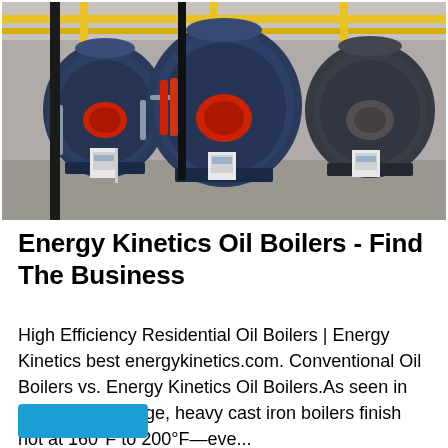[Figure (photo): Industrial boiler room with three large blue cylindrical oil boilers arranged in a row, yellow pipes overhead, control panels mounted on white pedestals, concrete floor, metal piping and equipment visible throughout the facility.]
Energy Kinetics Oil Boilers - Find The Business
High Efficiency Residential Oil Boilers | Energy Kinetics best energykinetics.com. Conventional Oil Boilers vs. Energy Kinetics Oil Boilers.As seen in this thermal image, heavy cast iron boilers finish hot at 160°F to 200°F—eve...